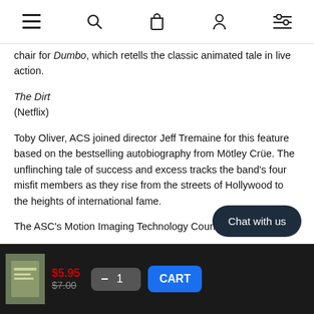Navigation bar with menu, search, bag, account, and filter icons
chair for Dumbo, which retells the classic animated tale in live action.
The Dirt
(Netflix)
Toby Oliver, ACS joined director Jeff Tremaine for this feature based on the bestselling autobiography from Mötley Crüe. The unflinching tale of success and excess tracks the band's four misfit members as they rise from the streets of Hollywood to the heights of international fame.
The ASC's Motion Imaging Technology Council
$5.95  $7.00  — 1 CART